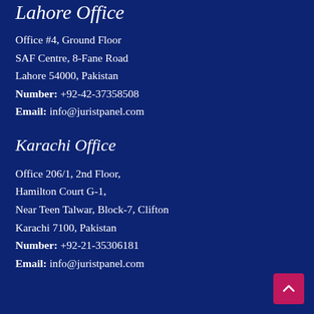Lahore Office
Office #4, Ground Floor
SAF Centre, 8-Fane Road
Lahore 54000, Pakistan
Number: +92-42-37358508
Email: info@juristpanel.com
Karachi Office
Office 206/1, 2nd Floor,
Hamilton Court G-1,
Near Teen Talwar, Block-7, Clifton
Karachi 7100, Pakistan
Number: +92-21-35306181
Email: info@juristpanel.com